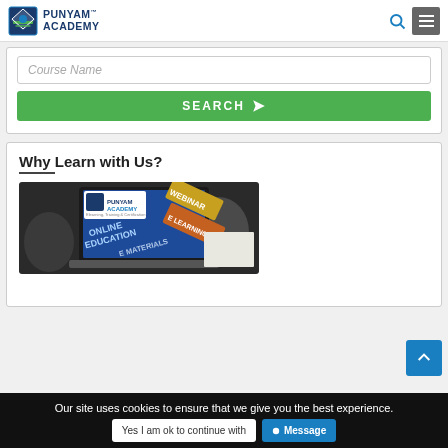PUNYAM ACADEMY
Course Name
SEARCH
Why Learn with Us?
[Figure (photo): Laptop showing online education platform with Punyam Academy logo, WEBINAR, E LEARNING, ONLINE EDUCATION, and E MATERIALS text overlays]
Our site uses cookies to ensure that we give you the best experience.  Yes I am ok to continue with  Message